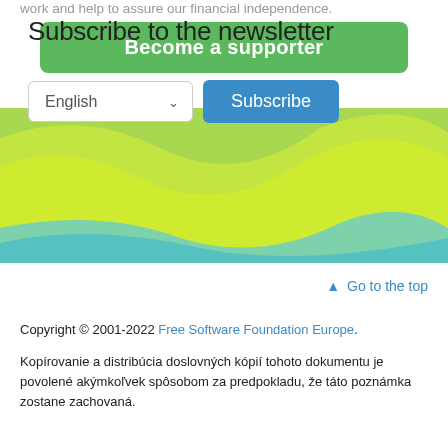work and help to assure our financial independence.
Become a supporter
Subscribe to the newsletter
English  Subscribe
▲ Go to the top
Copyright © 2001-2022 Free Software Foundation Europe.
Kopírovanie a distribúcia doslovných kópií tohoto dokumentu je povolené akýmkoľvek spôsobom za predpokladu, že táto poznámka zostane zachovaná.